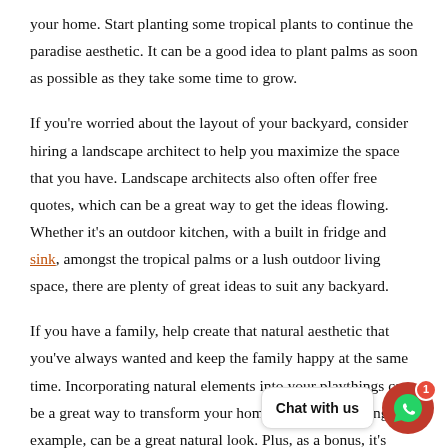your home. Start planting some tropical plants to continue the paradise aesthetic. It can be a good idea to plant palms as soon as possible as they take some time to grow.
If you're worried about the layout of your backyard, consider hiring a landscape architect to help you maximize the space that you have. Landscape architects also often offer free quotes, which can be a great way to get the ideas flowing. Whether it's an outdoor kitchen, with a built in fridge and sink, amongst the tropical palms or a lush outdoor living space, there are plenty of great ideas to suit any backyard.
If you have a family, help create that natural aesthetic that you've always wanted and keep the family happy at the same time. Incorporating natural elements into your playthings can be a great way to transform your home. A tree for a swing, for example, can be a great natural look. Plus, as a bonus, it's much easier to take down when it's no longer needed.